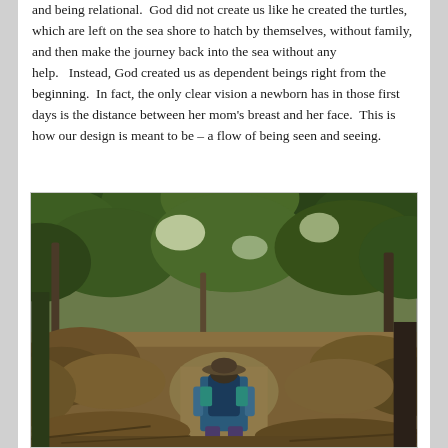and being relational.  God did not create us like he created the turtles, which are left on the sea shore to hatch by themselves, without family, and then make the journey back into the sea without any help.   Instead, God created us as dependent beings right from the beginning.  In fact, the only clear vision a newborn has in those first days is the distance between her mom's breast and her face.  This is how our design is meant to be – a flow of being seen and seeing.
[Figure (photo): A person wearing a hat and backpack hiking on a trail through dense green forest and brush, viewed from behind.]